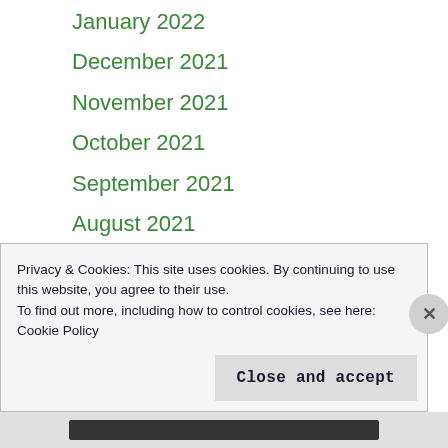January 2022
December 2021
November 2021
October 2021
September 2021
August 2021
July 2021
June 2021
May 2021
April 2021
January 2021
December 2020
November 2020
Privacy & Cookies: This site uses cookies. By continuing to use this website, you agree to their use.
To find out more, including how to control cookies, see here: Cookie Policy
Close and accept